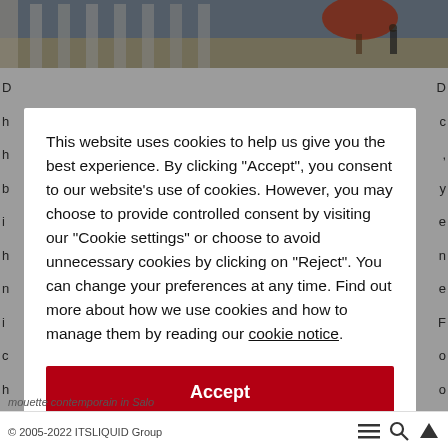[Figure (photo): Top banner photograph showing an architectural scene with columns, a plaza or courtyard, and autumn foliage, partially obscured by a cookie consent modal overlay.]
This website uses cookies to help us give you the best experience. By clicking "Accept", you consent to our website's use of cookies. However, you may choose to provide controlled consent by visiting our "Cookie settings" or choose to avoid unnecessary cookies by clicking on "Reject". You can change your preferences at any time. Find out more about how we use cookies and how to manage them by reading our cookie notice.
Accept
Reject
Cookie settings
© 2005-2022 ITSLIQUID Group